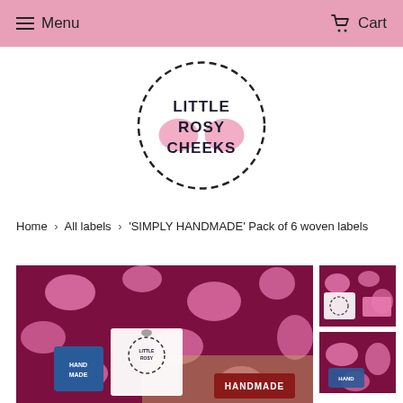Menu   Cart
[Figure (logo): Little Rosy Cheeks logo — dashed circle border with pink cheek circles and bold text LITTLE ROSY CHEEKS]
Home › All labels › 'SIMPLY HANDMADE' Pack of 6 woven labels
[Figure (photo): Main product photo showing dark magenta/maroon fabric with pink flamingo/abstract pattern, alongside woven labels including a blue HANDMADE label and white card with Little Rosy Cheeks branding]
[Figure (photo): Thumbnail 1: Close-up of colorful labels and products]
[Figure (photo): Thumbnail 2: Pink fabric detail with woven labels]